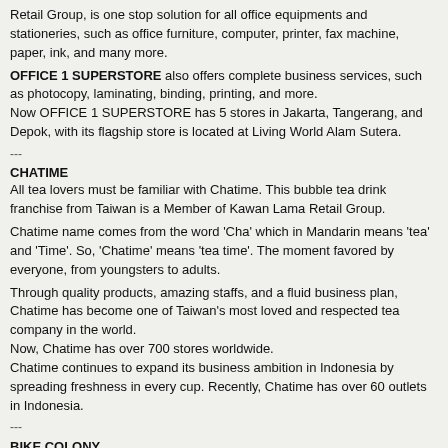Retail Group, is one stop solution for all office equipments and stationeries, such as office furniture, computer, printer, fax machine, paper, ink, and many more.
OFFICE 1 SUPERSTORE also offers complete business services, such as photocopy, laminating, binding, printing, and more. Now OFFICE 1 SUPERSTORE has 5 stores in Jakarta, Tangerang, and Depok, with its flagship store is located at Living World Alam Sutera.
---
CHATIME
All tea lovers must be familiar with Chatime. This bubble tea drink franchise from Taiwan is a Member of Kawan Lama Retail Group.
Chatime name comes from the word 'Cha' which in Mandarin means 'tea' and 'Time'. So, 'Chatime' means 'tea time'. The moment favored by everyone, from youngsters to adults.
Through quality products, amazing staffs, and a fluid business plan, Chatime has become one of Taiwan's most loved and respected tea company in the world. Now, Chatime has over 700 stores worldwide.
Chatime continues to expand its business ambition in Indonesia by spreading freshness in every cup. Recently, Chatime has over 60 outlets in Indonesia.
---
BIKE COLONY
Along with the expanding needs of quality bikes and bike accessories in Indonesia, Bike Colony - a Member of Kawan Lama Retail Group - comes.
Bike Colony offers a complete series of bikes from international brands, comprising road bikes, fixed bikes, mountain bikes, and more. Whether you are a novice that needs a bike for everyday use, or a real biker that likes pumping adrenaline to conquer the mountains, we have all you need.
Bike Colony now has 9 stores located in Jakarta, Tangerang, Bandung, Bogor, Surabaya, and Solo, with its flagship store is in Living World Alam Sutera.